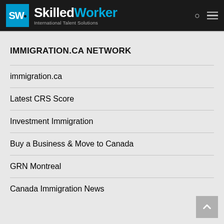SkilledWorker International Talent Solutions
IMMIGRATION.CA NETWORK
immigration.ca
Latest CRS Score
Investment Immigration
Buy a Business & Move to Canada
GRN Montreal
Canada Immigration News